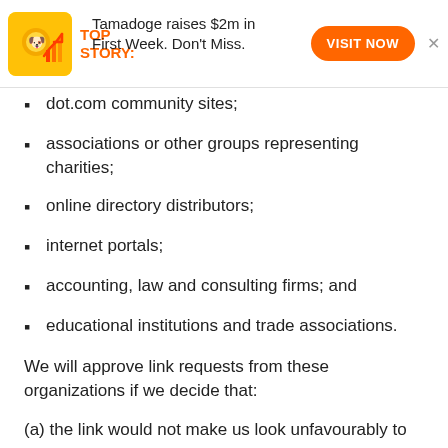[Figure (other): Tamadoge advertisement banner: orange icon with dog/coin graphic, text 'TOP STORY: Tamadoge raises $2m in First Week. Don't Miss.' with orange 'VISIT NOW' button]
dot.com community sites;
associations or other groups representing charities;
online directory distributors;
internet portals;
accounting, law and consulting firms; and
educational institutions and trade associations.
We will approve link requests from these organizations if we decide that:
(a) the link would not make us look unfavourably to